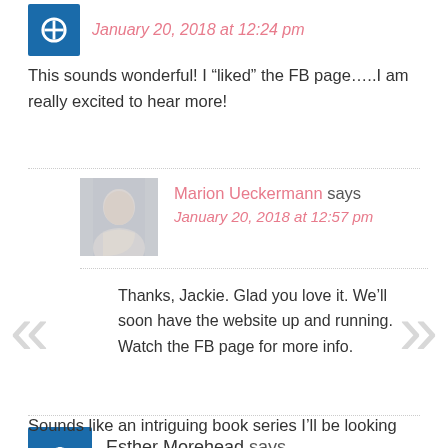January 20, 2018 at 12:24 pm
This sounds wonderful! I “liked” the FB page…..I am really excited to hear more!
Marion Ueckermann says
January 20, 2018 at 12:57 pm
Thanks, Jackie. Glad you love it. We’ll soon have the website up and running. Watch the FB page for more info.
Esther Morehead says
January 20, 2018 at 1:30 pm
Sounds like an intriguing book series I’ll be looking